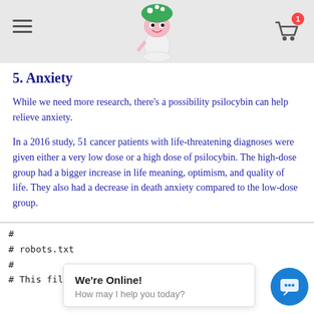[Navigation bar with hamburger menu, mascot logo, and shopping cart with badge showing 1]
5. Anxiety
While we need more research, there's a possibility psilocybin can help relieve anxiety.
In a 2016 study, 51 cancer patients with life-threatening diagnoses were given either a very low dose or a high dose of psilocybin. The high-dose group had a bigger increase in life meaning, optimism, and quality of life. They also had a decrease in death anxiety compared to the low-dose group.
#
# robots.txt
#
# This file is to prevent the crawling and
We're Online!
How may I help you today?